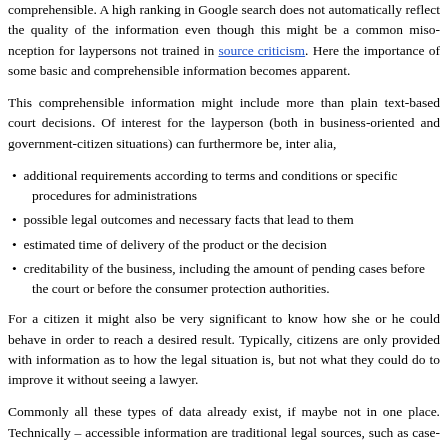comprehensible. A high ranking in Google search does not automatically reflect the quality of the information even though this might be a common misconception for laypersons not trained in source criticism. Here the importance of some basic and comprehensible information becomes apparent.
This comprehensible information might include more than plain text-based court decisions. Of interest for the layperson (both in business-oriented and government-citizen situations) can furthermore be, inter alia,
additional requirements according to terms and conditions or specific procedures for administrations
possible legal outcomes and necessary facts that lead to them
estimated time of delivery of the product or the decision
creditability of the business, including the amount of pending cases before the court or before the consumer protection authorities.
For a citizen it might also be very significant to know how she or he could behave in order to reach a desired result. Typically, citizens are only provided with information as to how the legal situation is, but not what they could do to improve it without seeing a lawyer.
Commonly all these types of data already exist, if maybe not in one place. Technically – accessible information are traditional legal sources, such as case-law. Again, here the question mainly focuses on how to provide such information